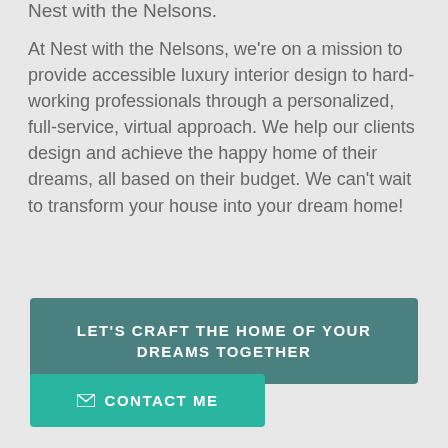Nest with the Nelsons.
At Nest with the Nelsons, we're on a mission to provide accessible luxury interior design to hard-working professionals through a personalized, full-service, virtual approach. We help our clients design and achieve the happy home of their dreams, all based on their budget. We can't wait to transform your house into your dream home!
LET'S CRAFT THE HOME OF YOUR DREAMS TOGETHER
CONTACT ME